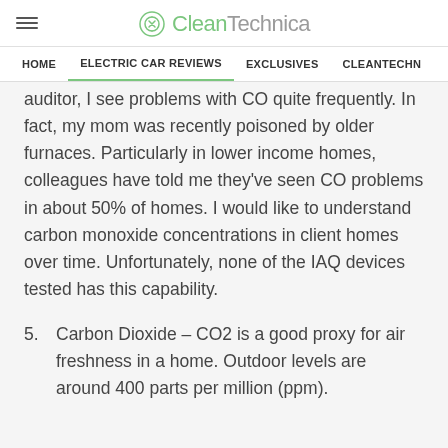CleanTechnica — HOME | ELECTRIC CAR REVIEWS | EXCLUSIVES | CLEANTECHN
auditor, I see problems with CO quite frequently. In fact, my mom was recently poisoned by older furnaces. Particularly in lower income homes, colleagues have told me they've seen CO problems in about 50% of homes. I would like to understand carbon monoxide concentrations in client homes over time. Unfortunately, none of the IAQ devices tested has this capability.
5. Carbon Dioxide – CO2 is a good proxy for air freshness in a home. Outdoor levels are around 400 parts per million (ppm).